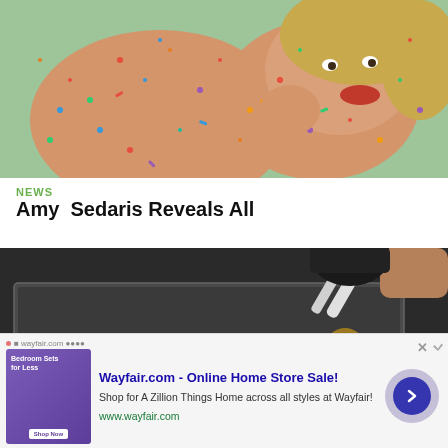[Figure (photo): Woman covered in colorful sprinkles, smiling, against a light green background]
NEWS
Amy Sedaris Reveals All
[Figure (photo): Cookie dough being dropped onto a baking sheet with a scoop, showing several cookie dough balls on a dark metal pan]
[Figure (other): Advertisement: Wayfair.com - Online Home Store Sale! Shop for A Zillion Things Home across all styles at Wayfair! www.wayfair.com]